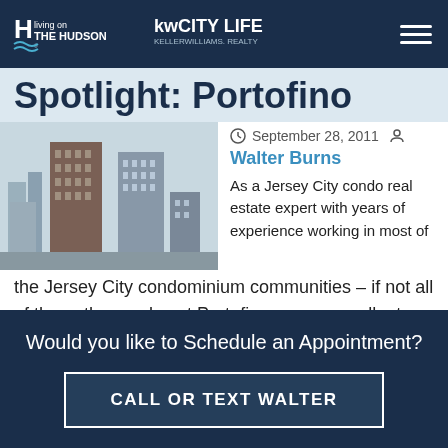Living on The Hudson | KW City Life – Keller Williams Realty
Spotlight: Portofino
[Figure (photo): Photo of high-rise condominium buildings against a grey sky, Jersey City waterfront]
September 28, 2011
Walter Burns
As a Jersey City condo real estate expert with years of experience working in most of the Jersey City condominium communities – if not all of them, the condos at Portofino are an excellent choice if you
Would you like to Schedule an Appointment?
CALL OR TEXT WALTER